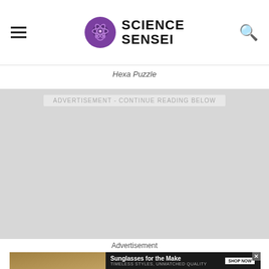Science Sensei
Hexa Puzzle
ADVERTISEMENT - CONTINUE READING BELOW
[Figure (other): Gray advertisement placeholder area]
Advertisement
[Figure (photo): Advertisement banner showing two women wearing sunglasses with text 'Sunglasses for the Make, Timeless Styles, Unmatched Quality, SHOP NOW']